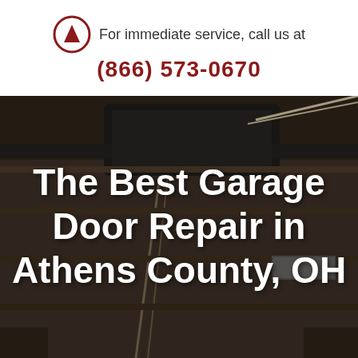For immediate service, call us at (866) 573-0670
[Figure (photo): Close-up photo of a garage door opener mechanism showing cables, rails, and motor unit with dark/brown tones]
The Best Garage Door Repair in Athens County, OH